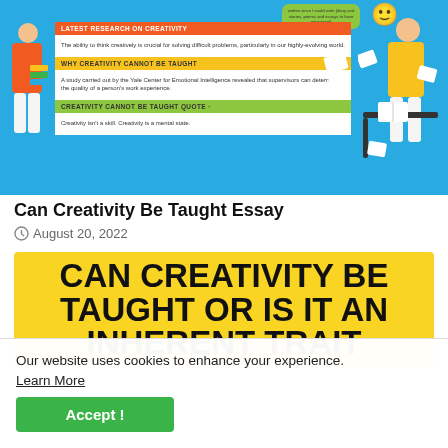[Figure (infographic): Blue background infographic about creativity with colored section headers (orange: LATEST RESEARCH ON CREATIVITY, yellow: WHY CREATIVITY CANNOT BE TAUGHT, green: CREATIVITY CANNOT BE TAUGHT QUOTE), text panels, and illustrated figures of a person carrying books on the left and a student studying on the right.]
Can Creativity Be Taught Essay
August 20, 2022
[Figure (infographic): Yellow banner with large bold uppercase text: CAN CREATIVITY BE TAUGHT OR IS IT AN INHERENT TRAIT]
Our website uses cookies to enhance your experience.
Learn More
Accept !